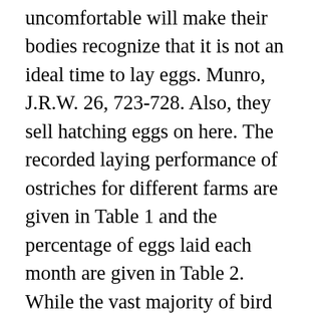uncomfortable will make their bodies recognize that it is not an ideal time to lay eggs. Munro, J.R.W. 26, 723-728. Also, they sell hatching eggs on here. The recorded laying performance of ostriches for different farms are given in Table 1 and the percentage of eggs laid each month are given in Table 2. While the vast majority of bird species have lost their intromittent organs over evolutionary time, about 3 percent of living species' males do develop penises. Her main objective is to fill a nest with 12-15 eggs and will lay about every other day to do this. Februar 2005, Instructions for Authors / Templates / Masterfile. Viable eggs were transferred to a Masalles 1300- N